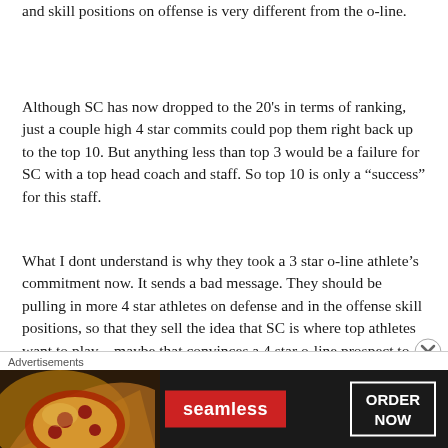and skill positions on offense is very different from the o-line.
Although SC has now dropped to the 20's in terms of ranking, just a couple high 4 star commits could pop them right back up to the top 10. But anything less than top 3 would be a failure for SC with a top head coach and staff. So top 10 is only a “success” for this staff.
What I dont understand is why they took a 3 star o-line athlete’s commitment now. It sends a bad message. They should be pulling in more 4 star athletes on defense and in the offense skill positions, so that they sell the idea that SC is where top athletes want to play – maybe that convinces a 4 star o-line prospect to
Advertisements
[Figure (other): Seamless food delivery advertisement banner featuring pizza image on left, red Seamless logo in center, and ORDER NOW button on right, on dark background.]